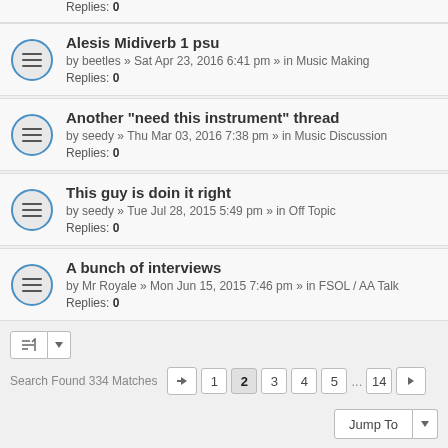Replies: 0 (partial top row)
Alesis Midiverb 1 psu — by beetles » Sat Apr 23, 2016 6:41 pm » in Music Making — Replies: 0
Another "need this instrument" thread — by seedy » Thu Mar 03, 2016 7:38 pm » in Music Discussion — Replies: 0
This guy is doin it right — by seedy » Tue Jul 28, 2015 5:49 pm » in Off Topic — Replies: 0
A bunch of interviews — by Mr Royale » Mon Jun 15, 2015 7:46 pm » in FSOL / AA Talk — Replies: 0
Search Found 334 Matches — pagination: 1 2 3 4 5 ... 14
Jump To